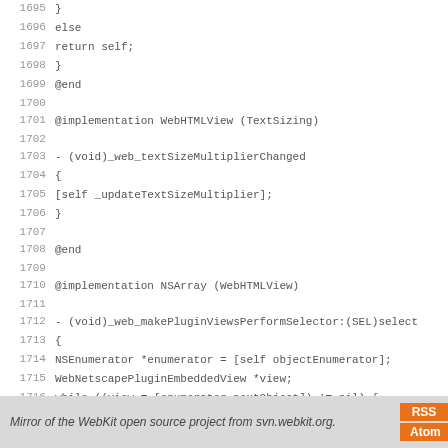Source code viewer showing lines 1695-1723 of WebKit Objective-C source code, including WebHTMLView (TextSizing) and NSArray (WebHTMLView) implementations
Mirror of the WebKit open source project from svn.webkit.org.